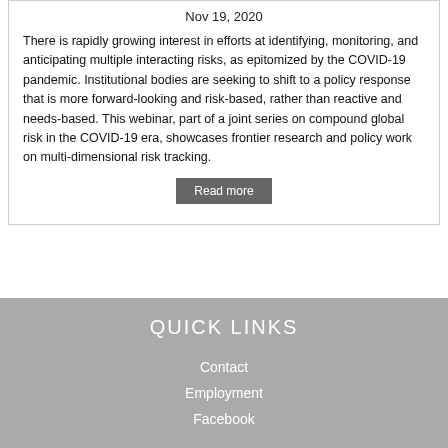Nov 19, 2020
There is rapidly growing interest in efforts at identifying, monitoring, and anticipating multiple interacting risks, as epitomized by the COVID-19 pandemic. Institutional bodies are seeking to shift to a policy response that is more forward-looking and risk-based, rather than reactive and needs-based. This webinar, part of a joint series on compound global risk in the COVID-19 era, showcases frontier research and policy work on multi-dimensional risk tracking.
Read more
QUICK LINKS
Contact
Employment
Facebook